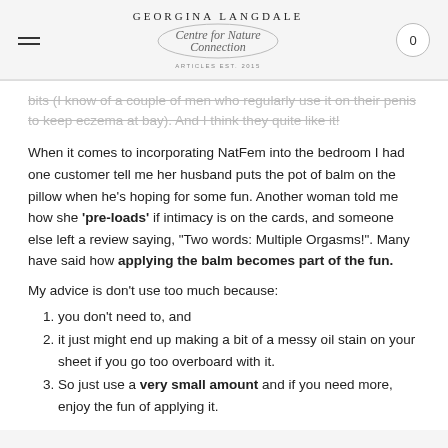GEORGINA LANGDALE Centre for Nature Connection
bits (I know of a couple of men who regularly use it on their penis to keep eczema at bay). And I think they quite like it!
When it comes to incorporating NatFem into the bedroom I had one customer tell me her husband puts the pot of balm on the pillow when he’s hoping for some fun. Another woman told me how she ‘pre-loads’ if intimacy is on the cards, and someone else left a review saying, “Two words: Multiple Orgasms!”. Many have said how applying the balm becomes part of the fun.
My advice is don’t use too much because:
you don’t need to, and
it just might end up making a bit of a messy oil stain on your sheet if you go too overboard with it.
So just use a very small amount and if you need more, enjoy the fun of applying it.